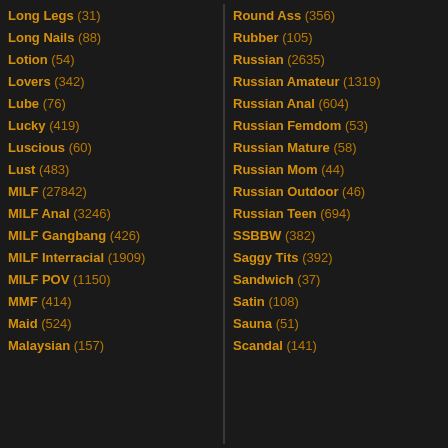Long Legs (31)
Long Nails (88)
Lotion (54)
Lovers (342)
Lube (76)
Lucky (419)
Luscious (60)
Lust (483)
MILF (27842)
MILF Anal (3246)
MILF Gangbang (426)
MILF Interracial (1909)
MILF POV (1150)
MMF (414)
Maid (524)
Malaysian (157)
Round Ass (356)
Rubber (105)
Russian (2635)
Russian Amateur (1319)
Russian Anal (604)
Russian Femdom (53)
Russian Mature (58)
Russian Mom (44)
Russian Outdoor (46)
Russian Teen (694)
SSBBW (382)
Saggy Tits (392)
Sandwich (37)
Satin (108)
Sauna (51)
Scandal (141)